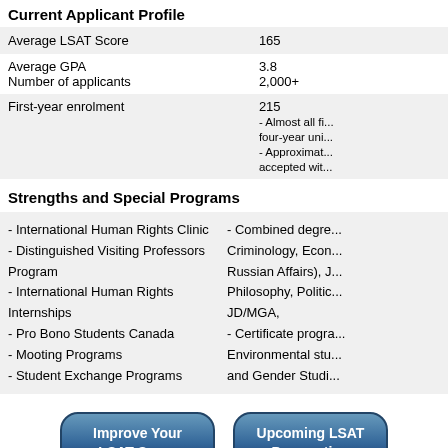Current Applicant Profile
|  |  |
| --- | --- |
| Average LSAT Score | 165 |
| Average GPA
Number of applicants | 3.8
2,000+ |
| First-year enrolment | 215
- Almost all fi... four-year uni...
- Approximat... accepted wit... |
Strengths and Special Programs
- International Human Rights Clinic
- Distinguished Visiting Professors Program
- International Human Rights Internships
- Pro Bono Students Canada
- Mooting Programs
- Student Exchange Programs
- Combined degre... Criminology, Econ... Russian Affairs), J... Philosophy, Politic... JD/MGA,
- Certificate progra... Environmental stu... and Gender Studi...
Improve Your LSAT Score
Upcoming LSAT Preparation Courses